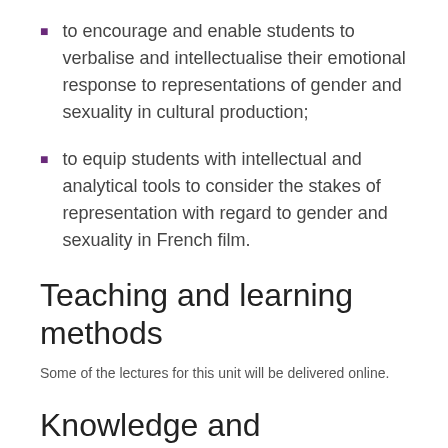to encourage and enable students to verbalise and intellectualise their emotional response to representations of gender and sexuality in cultural production;
to equip students with intellectual and analytical tools to consider the stakes of representation with regard to gender and sexuality in French film.
Teaching and learning methods
Some of the lectures for this unit will be delivered online.
Knowledge and understanding